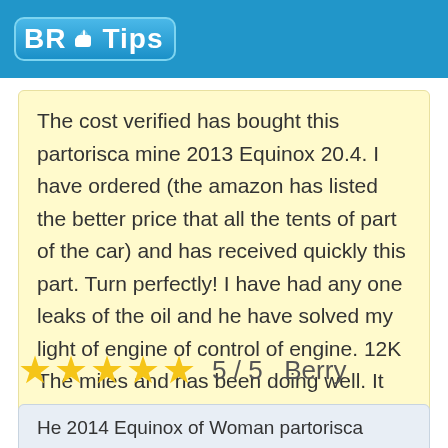BR Tips
The cost verified has bought this partorisca mine 2013 Equinox 20.4. I have ordered (the amazon has listed the better price that all the tents of part of the car) and has received quickly this part. Turn perfectly! I have had any one leaks of the oil and he have solved my light of engine of control of engine. 12K The miles and has been doing well. It recommends and the shabby again has required .
5 / 5  Berry
He 2014 Equinox of Woman partorisca Purchase